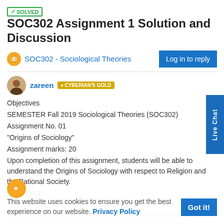✓SOLVED SOC302 Assignment 1 Solution and Discussion
SOC302 - Sociological Theories
Log in to reply
zareen  CYBERIAN'S GOLD
Objectives
SEMESTER Fall 2019 Sociological Theories (SOC302)
Assignment No. 01
“Origins of Sociology”
Assignment marks: 20
Upon completion of this assignment, students will be able to understand the Origins of Sociology with respect to Religion and the Rational Society.
Question 1:
In view of the role of religion in the development of Sociology, similarities and differences could be determined in the objectives and approaches of Religion and Sociology? Explain with the help of an example.
This website uses cookies to ensure you get the best experience on our website. Privacy Policy
Got it!